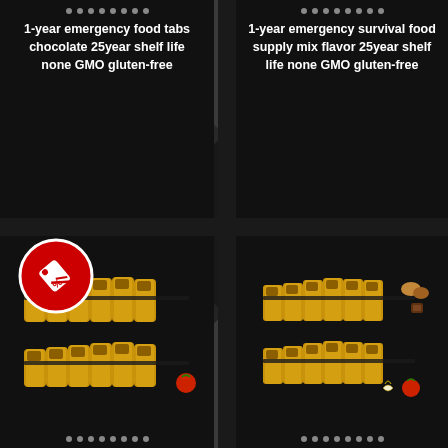1-year emergency food tabs chocolate 25year shelf life none GMO gluten-free
1-year emergency survival food supply mix flavor 25year shelf life none GMO gluten-free
[Figure (photo): Multiple gold/yellow canisters of emergency food tabs arranged in two rows with a strawberry in front]
[Figure (photo): Multiple gold/yellow canisters of emergency food supply arranged in two rows with nuts, chocolate, vanilla flower and strawberry in front]
[Figure (infographic): Red circular discount badge with white price tag icon and % symbol]